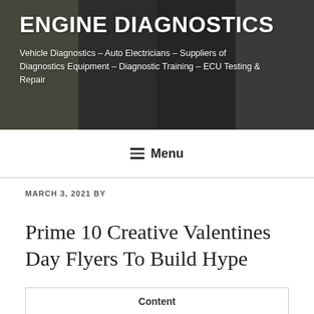[Figure (photo): Website header banner with photo collage of engine diagnostics equipment, circuit boards, and automotive electrical components as background]
ENGINE DIAGNOSTICS
Vehicle Diagnostics – Auto Electricians – Suppliers of Diagnostics Equipment – Diagnostic Training – ECU Testing & Repair
≡ Menu
MARCH 3, 2021 BY
Prime 10 Creative Valentines Day Flyers To Build Hype
Content